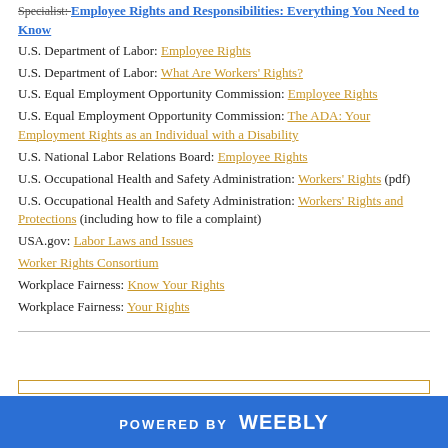Specialist: Employee Rights and Responsibilities: Everything You Need to Know
U.S. Department of Labor: Employee Rights
U.S. Department of Labor: What Are Workers' Rights?
U.S. Equal Employment Opportunity Commission: Employee Rights
U.S. Equal Employment Opportunity Commission: The ADA: Your Employment Rights as an Individual with a Disability
U.S. National Labor Relations Board: Employee Rights
U.S. Occupational Health and Safety Administration: Workers' Rights (pdf)
U.S. Occupational Health and Safety Administration: Workers' Rights and Protections (including how to file a complaint)
USA.gov: Labor Laws and Issues
Worker Rights Consortium
Workplace Fairness: Know Your Rights
Workplace Fairness: Your Rights
POWERED BY weebly